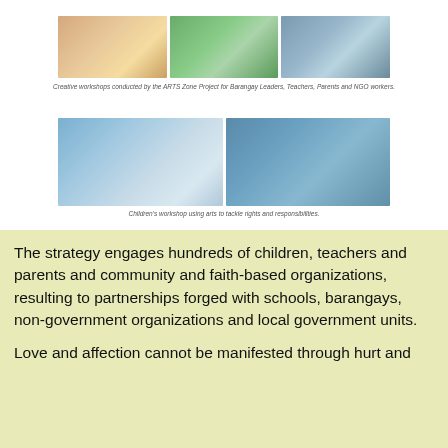[Figure (photo): Three photos showing creative workshops conducted by the ARTS Zone Project for Barangay Leaders, Teachers, Parents and NGO workers]
Creative workshops conducted by the ARTS Zone Project for Barangay Leaders, Teachers, Parents and NGO workers.
[Figure (photo): Two photos of children's workshop using arts to tackle rights and responsibilities]
Children's workshop using arts to tackle rights and responsibilities.
The strategy engages hundreds of children, teachers and parents and community and faith-based organizations, resulting to partnerships forged with schools, barangays, non-government organizations and local government units.
Love and affection cannot be manifested through hurt and